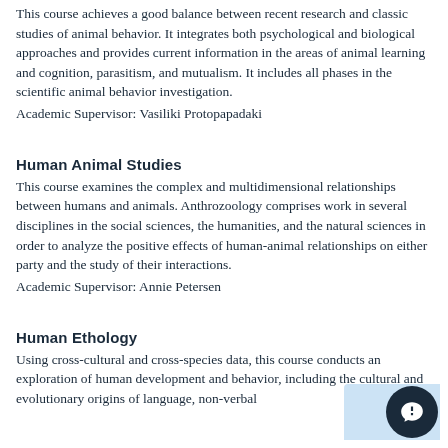This course achieves a good balance between recent research and classic studies of animal behavior. It integrates both psychological and biological approaches and provides current information in the areas of animal learning and cognition, parasitism, and mutualism. It includes all phases in the scientific animal behavior investigation.
Academic Supervisor: Vasiliki Protopapadaki
Human Animal Studies
This course examines the complex and multidimensional relationships between humans and animals. Anthrozoology comprises work in several disciplines in the social sciences, the humanities, and the natural sciences in order to analyze the positive effects of human-animal relationships on either party and the study of their interactions.
Academic Supervisor: Annie Petersen
Human Ethology
Using cross-cultural and cross-species data, this course conducts an exploration of human development and behavior, including the cultural and evolutionary origins of language, non-verbal